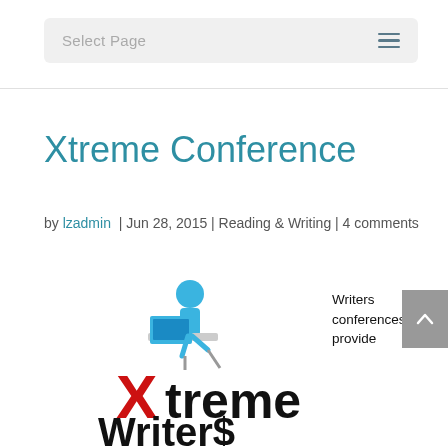Select Page
Xtreme Conference
by lzadmin | Jun 28, 2015 | Reading & Writing | 4 comments
[Figure (illustration): Xtreme Writers conference logo: blue cartoon figure sitting at laptop on a desk, above the word 'Xtreme' with red X and black text, and 'Writers' in large black bold text below]
Writers conferences provide